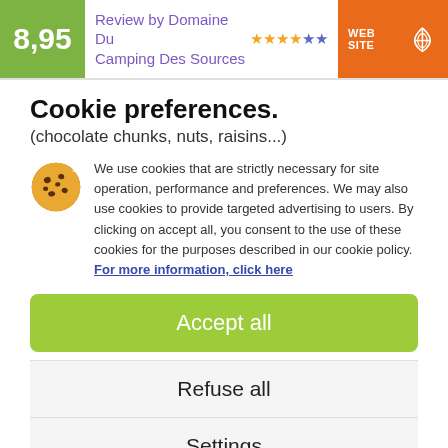8,95 | Review by Domaine Du Camping Des Sources **** ★★ | WEB SITE
Cookie preferences.
(chocolate chunks, nuts, raisins...)
We use cookies that are strictly necessary for site operation, performance and preferences. We may also use cookies to provide targeted advertising to users. By clicking on accept all, you consent to the use of these cookies for the purposes described in our cookie policy. For more information, click here
Accept all
Refuse all
Settings